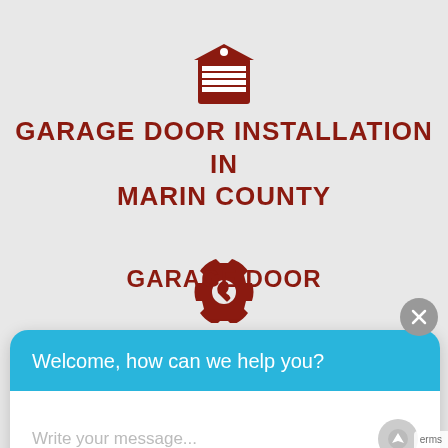[Figure (illustration): Red garage door icon (building with roller door and dot at top)]
GARAGE DOOR INSTALLATION IN MARIN COUNTY
[Figure (illustration): Red gear/wrench service icon]
GARAGE DOOR
Welcome, how can we help you?
Write your message...
[Figure (illustration): Red WiFi/signal icon at bottom]